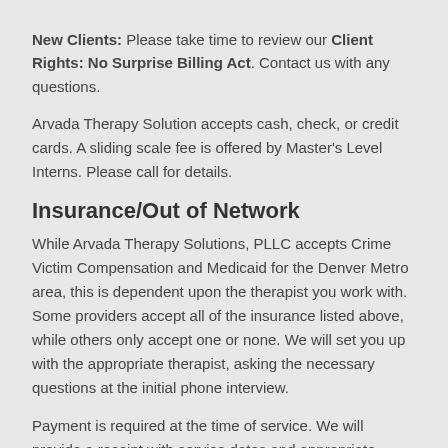New Clients: Please take time to review our Client Rights: No Surprise Billing Act. Contact us with any questions.
Arvada Therapy Solution accepts cash, check, or credit cards. A sliding scale fee is offered by Master's Level Interns. Please call for details.
Insurance/Out of Network
While Arvada Therapy Solutions, PLLC accepts Crime Victim Compensation and Medicaid for the Denver Metro area, this is dependent upon the therapist you work with. Some providers accept all of the insurance listed above, while others only accept one or none. We will set you up with the appropriate therapist, asking the necessary questions at the initial phone interview.
Payment is required at the time of service. We will provide a receipt with service dates and appropriate coding if you would like to submit it for reimbursement for out of network benefits. Arvada Therapy Solutions, PLLC cannot guarantee that your